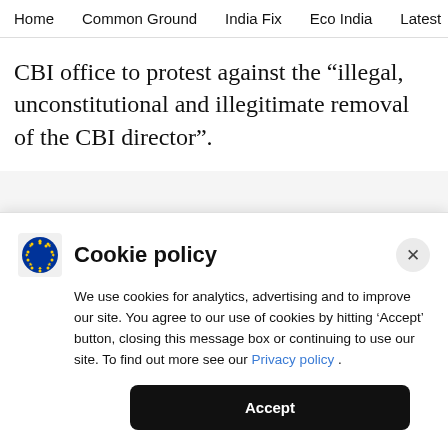Home   Common Ground   India Fix   Eco India   Latest   Th
CBI office to protest against the “illegal, unconstitutional and illegitimate removal of the CBI director”.
ADVERTISEMENT
Cookie policy
We use cookies for analytics, advertising and to improve our site. You agree to our use of cookies by hitting ‘Accept’ button, closing this message box or continuing to use our site. To find out more see our Privacy policy .
Accept